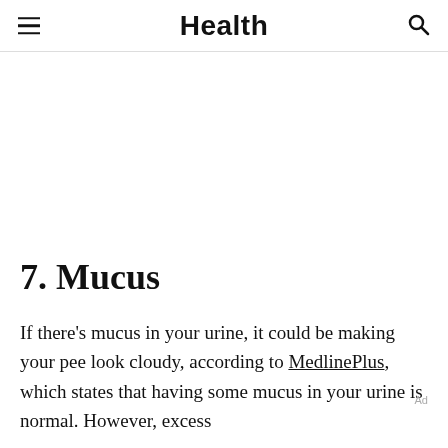Health
7. Mucus
If there's mucus in your urine, it could be making your pee look cloudy, according to MedlinePlus, which states that having some mucus in your urine is normal. However, exces…
Ad